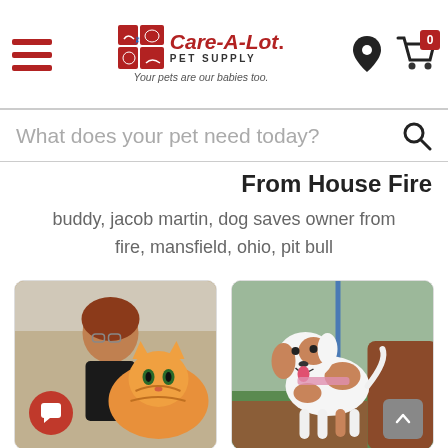[Figure (logo): Care-A-Lot Pet Supply logo with hamburger menu, location pin, and cart icons in header]
What does your pet need today?
From House Fire
buddy, jacob martin, dog saves owner from fire, mansfield, ohio, pit bull
[Figure (photo): Woman with orange/ginger cat being petted at what appears to be a pet store or vet office]
[Figure (photo): White and brown dog standing outdoors near a rock and grass area, wearing a pink harness]